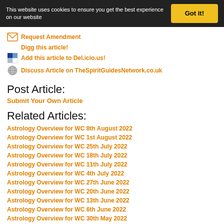This website uses cookies to ensure you get the best experience on our website  Got it!
Request Amendment
Digg this article!
Add this article to Del.icio.us!
Discuss Article on TheSpiritGuidesNetwork.co.uk
Post Article:
Submit Your Own Article
Related Articles:
Astrology Overview for WC 8th August 2022
Astrology Overview for WC 1st August 2022
Astrology Overview for WC 25th July 2022
Astrology Overview for WC 18th July 2022
Astrology Overview for WC 11th July 2022
Astrology Overview for WC 4th July 2022
Astrology Overview for WC 27th June 2022
Astrology Overview for WC 20th June 2022
Astrology Overview for WC 13th June 2022
Astrology Overview for WC 6th June 2022
Astrology Overview for WC 30th May 2022
Astrology Overview for WC 23rd May 2022
Astrology Overview for WC 16th May 2022
Astrology Overview for WC 9th May 2022